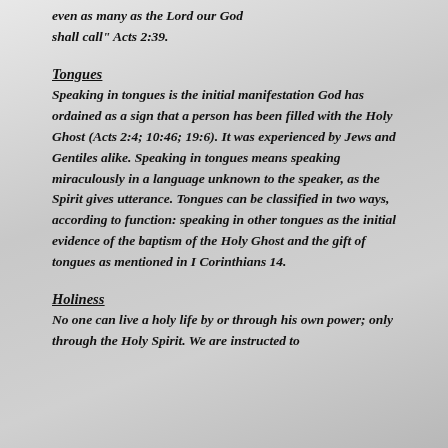even as many as the Lord our God shall call" Acts 2:39.
Tongues
Speaking in tongues is the initial manifestation God has ordained as a sign that a person has been filled with the Holy Ghost (Acts 2:4; 10:46; 19:6). It was experienced by Jews and Gentiles alike. Speaking in tongues means speaking miraculously in a language unknown to the speaker, as the Spirit gives utterance. Tongues can be classified in two ways, according to function: speaking in other tongues as the initial evidence of the baptism of the Holy Ghost and the gift of tongues as mentioned in I Corinthians 14.
Holiness
No one can live a holy life by or through his own power; only through the Holy Spirit. We are instructed to